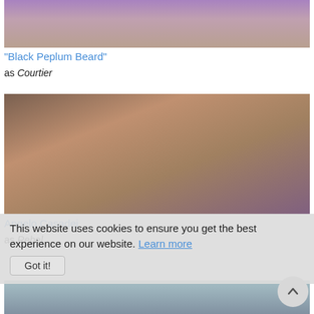[Figure (photo): Film still showing figures in ancient/historical costumes, blurred scene with purple and neutral tones]
"Black Peplum Beard"
as Courtier
[Figure (photo): Film still showing a group scene with many people in an ancient setting, chaotic action scene]
Angelo Casadei
as Rebel
This website uses cookies to ensure you get the best experience on our website. Learn more
Got it!
[Figure (photo): Film still showing an outdoor scene with wooden structures and figures, blue sky background]